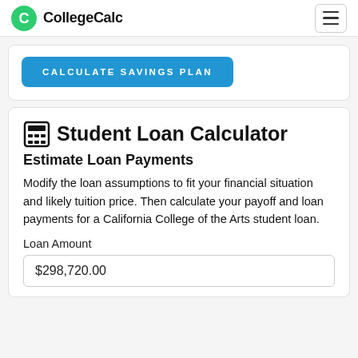CollegeCalc
CALCULATE SAVINGS PLAN
Student Loan Calculator
Estimate Loan Payments
Modify the loan assumptions to fit your financial situation and likely tuition price. Then calculate your payoff and loan payments for a California College of the Arts student loan.
Loan Amount
$298,720.00